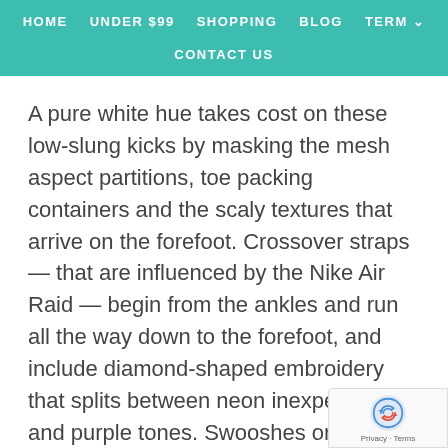HOME   UNDER $99   SHOPPING   BLOG   TERM   CONTACT US
A pure white hue takes cost on these low-slung kicks by masking the mesh aspect partitions, toe packing containers and the scaly textures that arrive on the forefoot. Crossover straps — that are influenced by the Nike Air Raid — begin from the ankles and run all the way down to the forefoot, and include diamond-shaped embroidery that splits between neon inexperienced and purple tones. Swooshes on the lateral and medial partitions are backdropped in a stark black and are available ornamented with sprinkle-like shapes and smiley faces that stand out in white. Down beneath, the bottoms are styled with white midsoles and are available spruced up with toothy spikes that emerge from the t and are divided into orange, inexperienced and blue s